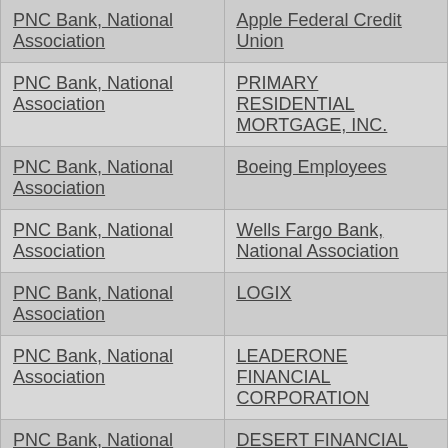| PNC Bank, National Association | Apple Federal Credit Union |
| PNC Bank, National Association | PRIMARY RESIDENTIAL MORTGAGE, INC. |
| PNC Bank, National Association | Boeing Employees |
| PNC Bank, National Association | Wells Fargo Bank, National Association |
| PNC Bank, National Association | LOGIX |
| PNC Bank, National Association | LEADERONE FINANCIAL CORPORATION |
| PNC Bank, National Association | DESERT FINANCIAL FEDERAL CREDIT UNION |
| PNC Bank, National Association | PATELCO |
| PNC Bank, National Association | ALLIANT |